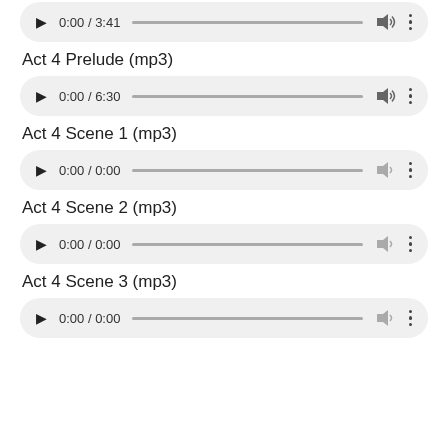[Figure (screenshot): Audio player bar showing play button, time 0:00 / 3:41, progress bar, volume icon, more options]
Act 4 Prelude (mp3)
[Figure (screenshot): Audio player bar showing play button, time 0:00 / 6:30, progress bar, volume icon, more options]
Act 4 Scene 1 (mp3)
[Figure (screenshot): Audio player bar showing play button, time 0:00 / 0:00, progress bar, volume icon, more options]
Act 4 Scene 2 (mp3)
[Figure (screenshot): Audio player bar showing play button, time 0:00 / 0:00, progress bar, volume icon, more options]
Act 4 Scene 3 (mp3)
[Figure (screenshot): Audio player bar showing play button, time 0:00 / 0:00, progress bar, volume icon, more options]